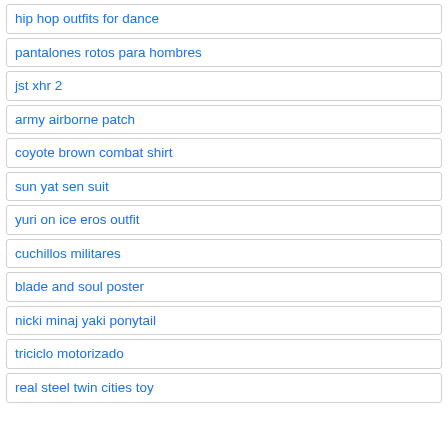hip hop outfits for dance
pantalones rotos para hombres
jst xhr 2
army airborne patch
coyote brown combat shirt
sun yat sen suit
yuri on ice eros outfit
cuchillos militares
blade and soul poster
nicki minaj yaki ponytail
triciclo motorizado
real steel twin cities toy